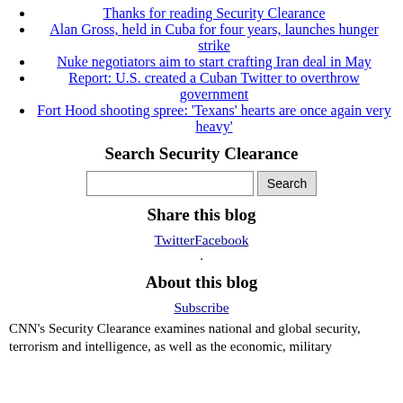Thanks for reading Security Clearance
Alan Gross, held in Cuba for four years, launches hunger strike
Nuke negotiators aim to start crafting Iran deal in May
Report: U.S. created a Cuban Twitter to overthrow government
Fort Hood shooting spree: 'Texans' hearts are once again very heavy'
Search Security Clearance
[search box] Search
Share this blog
TwitterFacebook
.
About this blog
Subscribe
CNN's Security Clearance examines national and global security, terrorism and intelligence, as well as the economic, military